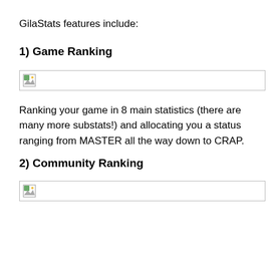GilaStats features include:
1) Game Ranking
[Figure (other): Broken image placeholder with icon and border]
Ranking your game in 8 main statistics (there are many more substats!) and allocating you a status ranging from MASTER all the way down to CRAP.
2) Community Ranking
[Figure (other): Broken image placeholder with icon and border]